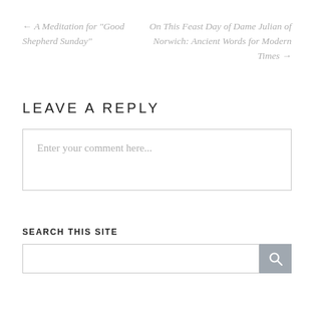← A Meditation for “Good Shepherd Sunday”
On This Feast Day of Dame Julian of Norwich: Ancient Words for Modern Times →
LEAVE A REPLY
Enter your comment here...
SEARCH THIS SITE